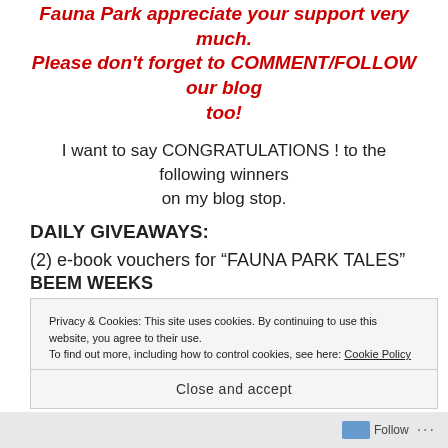Fauna Park appreciate your support very much. Please don't forget to COMMENT/FOLLOW our blog too!
I want to say CONGRATULATIONS ! to the following winners on my blog stop.
DAILY GIVEAWAYS:
(2) e-book vouchers for “FAUNA PARK TALES” BEEM WEEKS
Privacy & Cookies: This site uses cookies. By continuing to use this website, you agree to their use. To find out more, including how to control cookies, see here: Cookie Policy
Close and accept